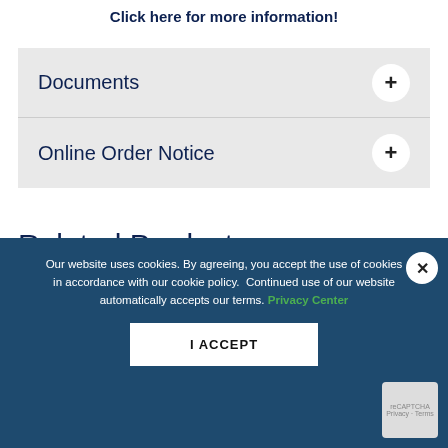Click here for more information!
Documents +
Online Order Notice +
Related Products
Our website uses cookies. By agreeing, you accept the use of cookies in accordance with our cookie policy. Continued use of our website automatically accepts our terms. Privacy Center
I ACCEPT